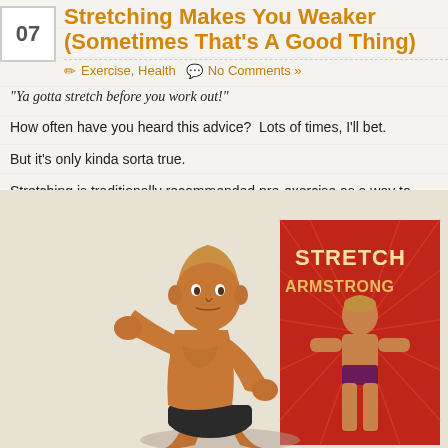Stretching Makes You Weaker (Sometimes That's A Good Thing)
Exercise, Health   No Comments »
"Ya gotta stretch before you work out!"
How often have you heard this advice?  Lots of times, I'll bet.
But it's only kinda sorta true.
Stretching is traditionally recommended pre-exercise as a way to reduce inju... Unfortunately, research and real life doesn't support the stretching-reduces-in...
[Figure (photo): Stretch Armstrong toy figure standing in front of Stretch Armstrong product box with red background]